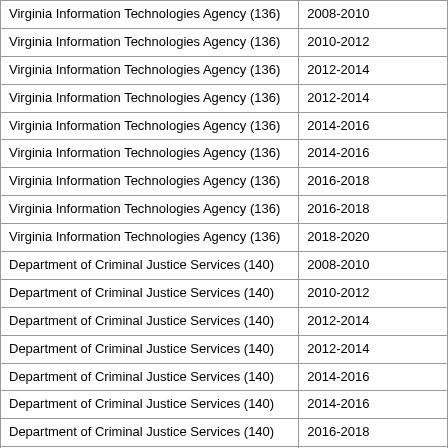| Agency | Years |
| --- | --- |
| Virginia Information Technologies Agency (136) | 2008-2010 |
| Virginia Information Technologies Agency (136) | 2010-2012 |
| Virginia Information Technologies Agency (136) | 2012-2014 |
| Virginia Information Technologies Agency (136) | 2012-2014 |
| Virginia Information Technologies Agency (136) | 2014-2016 |
| Virginia Information Technologies Agency (136) | 2014-2016 |
| Virginia Information Technologies Agency (136) | 2016-2018 |
| Virginia Information Technologies Agency (136) | 2016-2018 |
| Virginia Information Technologies Agency (136) | 2018-2020 |
| Department of Criminal Justice Services (140) | 2008-2010 |
| Department of Criminal Justice Services (140) | 2010-2012 |
| Department of Criminal Justice Services (140) | 2012-2014 |
| Department of Criminal Justice Services (140) | 2012-2014 |
| Department of Criminal Justice Services (140) | 2014-2016 |
| Department of Criminal Justice Services (140) | 2014-2016 |
| Department of Criminal Justice Services (140) | 2016-2018 |
| Department of Criminal Justice Services (140) | 2016-2018 |
| Department of Criminal Justice Services (140) | 2018-2020 |
| Department of Criminal Justice Services (140) | 2018-2020 |
| The Science Museum of Virginia (146) | 2008-2010 |